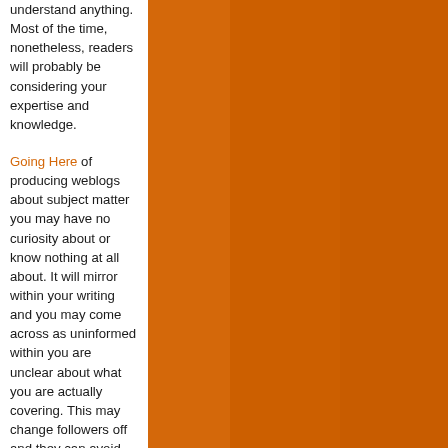understand anything. Most of the time, nonetheless, readers will probably be considering your expertise and knowledge.
Going Here of producing weblogs about subject matter you may have no curiosity about or know nothing at all about. It will mirror within your writing and you may come across as uninformed within you are unclear about what you are actually covering. This may change followers off and they can avoid revisiting your site.
Don't make the
[Figure (other): Three vertical orange/brown colored panels filling the right portion of the page]